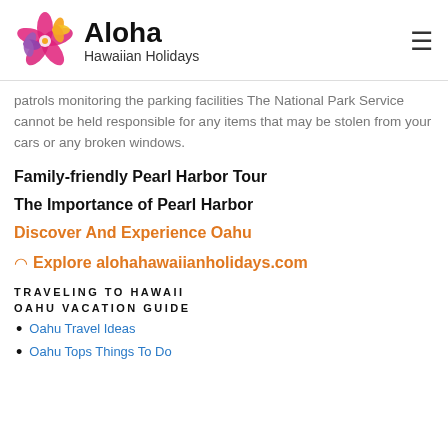Aloha Hawaiian Holidays
patrols monitoring the parking facilities The National Park Service cannot be held responsible for any items that may be stolen from your cars or any broken windows.
Family-friendly Pearl Harbor Tour
The Importance of Pearl Harbor
Discover And Experience Oahu
Explore alohahawaiianholidays.com
TRAVELING TO HAWAII
OAHU VACATION GUIDE
Oahu Travel Ideas
Oahu Tops Things To Do